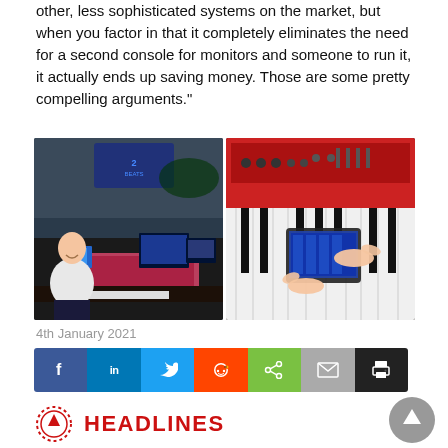other, less sophisticated systems on the market, but when you factor in that it completely eliminates the need for a second console for monitors and someone to run it, it actually ends up saving money. Those are some pretty compelling arguments."
[Figure (photo): Two side-by-side photos: left shows a man smiling standing next to a digital mixing console in a large venue; right shows hands operating a touchscreen device on a red keyboard instrument.]
4th January 2021
[Figure (infographic): Social media share buttons row: Facebook, LinkedIn, Twitter, Reddit, Share, Email, Print]
[Figure (logo): HEADLINES section header with red circular icon with up arrow]
[Figure (logo): news archive link with red circular icon with down arrow]
[Figure (other): Gray circular scroll-to-top button with white up arrow]